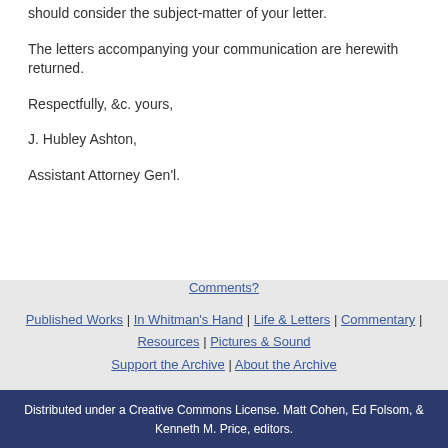should consider the subject-matter of your letter.
The letters accompanying your communication are herewith returned.
Respectfully, &c. yours,
J. Hubley Ashton,
Assistant Attorney Gen'l.
Comments? | Published Works | In Whitman's Hand | Life & Letters | Commentary | Resources | Pictures & Sound | Support the Archive | About the Archive
Distributed under a Creative Commons License. Matt Cohen, Ed Folsom, & Kenneth M. Price, editors.